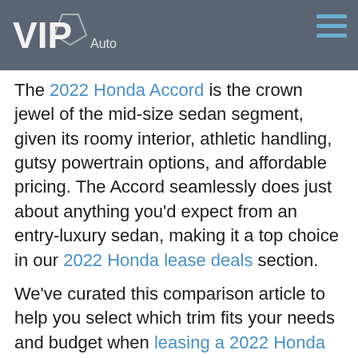VIP Auto [logo]
The 2022 Honda Accord is the crown jewel of the mid-size sedan segment, given its roomy interior, athletic handling, gutsy powertrain options, and affordable pricing. The Accord seamlessly does just about anything you'd expect from an entry-luxury sedan, making it a top choice in our 2022 Honda lease deals section.
We've curated this comparison article to help you select which trim fits your needs and budget when leasing a 2022 Honda Accord.
Sport
The Sport trim occupies the second position in